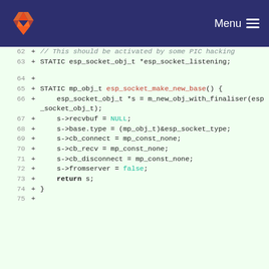[Figure (screenshot): GitLab navigation header with orange fox logo on dark navy/purple background and Menu hamburger icon on the right]
Code diff view showing lines 62-75 of a C source file with added lines (+) showing STATIC declarations and esp_socket function definitions including esp_socket_make_new_base()